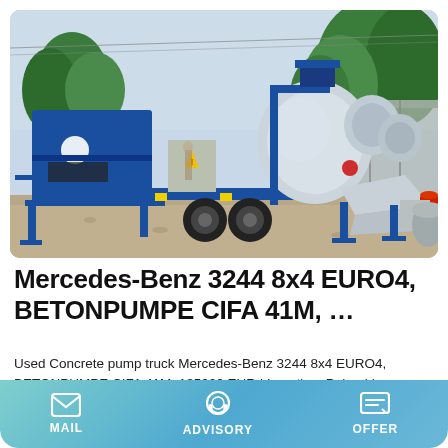[Figure (photo): Blue concrete pump truck with mixer drum and large cylindrical outlets on a construction site, parked on gravel with trees and a fence in the background.]
Mercedes-Benz 3244 8x4 EURO4, BETONPUMPE CIFA 41M, ...
Used Concrete pump truck Mercedes-Benz 3244 8x4 EURO4, BETONPUMPE CIFA 41M, 185000 EUR | Location: Poland |
MAIL   ADVISORY   OFFER